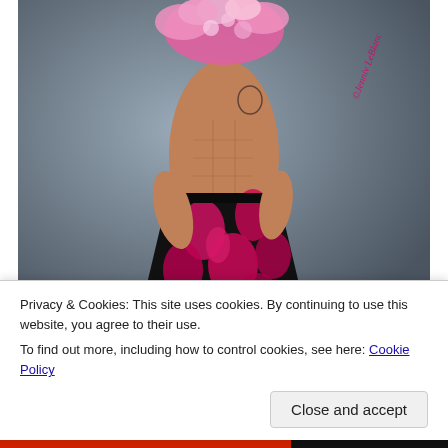[Figure (photo): A shirtless male model wearing a black sarong with large hot-pink floral print, adorned with pink flowers covering his face/head, standing against a grey studio backdrop. A cursive watermark reads '©Jenniv LeBlanc' on the right side of the image.]
Privacy & Cookies: This site uses cookies. By continuing to use this website, you agree to their use.
To find out more, including how to control cookies, see here: Cookie Policy
Close and accept
Advertisements